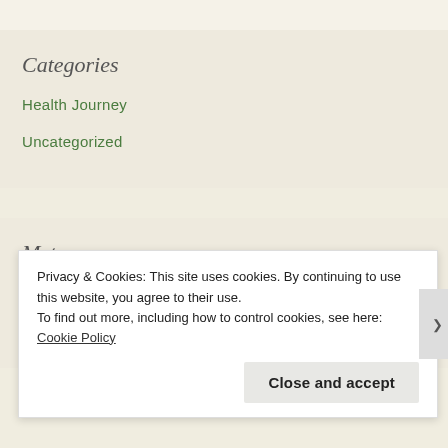Categories
Health Journey
Uncategorized
Meta
Register
Log in
Privacy & Cookies: This site uses cookies. By continuing to use this website, you agree to their use.
To find out more, including how to control cookies, see here: Cookie Policy
Close and accept